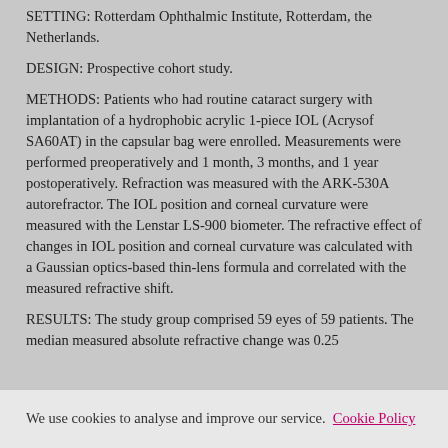SETTING: Rotterdam Ophthalmic Institute, Rotterdam, the Netherlands.
DESIGN: Prospective cohort study.
METHODS: Patients who had routine cataract surgery with implantation of a hydrophobic acrylic 1-piece IOL (Acrysof SA60AT) in the capsular bag were enrolled. Measurements were performed preoperatively and 1 month, 3 months, and 1 year postoperatively. Refraction was measured with the ARK-530A autorefractor. The IOL position and corneal curvature were measured with the Lenstar LS-900 biometer. The refractive effect of changes in IOL position and corneal curvature was calculated with a Gaussian optics-based thin-lens formula and correlated with the measured refractive shift.
RESULTS: The study group comprised 59 eyes of 59 patients. The median measured absolute refractive change was 0.25 diopters (D); that of the predicted refractive shift was 0.15
We use cookies to analyse and improve our service. Cookie Policy